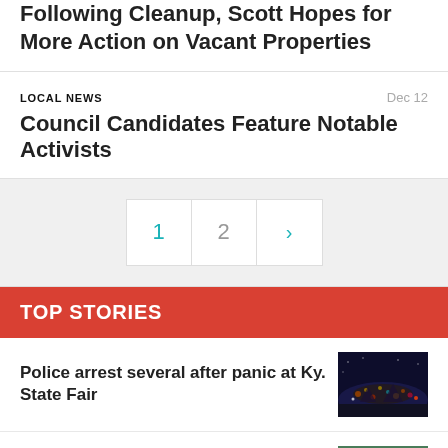Following Cleanup, Scott Hopes for More Action on Vacant Properties
LOCAL NEWS
Council Candidates Feature Notable Activists
1 2 >
TOP STORIES
Police arrest several after panic at Ky. State Fair
[Figure (photo): Night aerial photo of Kentucky State Fair with lights and crowds]